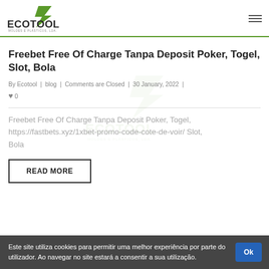ECOTOOL
Freebet Free Of Charge Tanpa Deposit Poker, Togel, Slot, Bola
By Ecotool | blog | Comments are Closed | 30 January, 2022 | ♥ 0
Freebet Free Of Charge Tanpa Deposit Poker, Togel, https://fastbets.xyz/1xbet-promo-code-cote-de-voir/ Slot, Bola
READ MORE
Este site utiliza cookies para permitir uma melhor experiência por parte do utilizador. Ao navegar no site estará a consentir a sua utilização. Ok